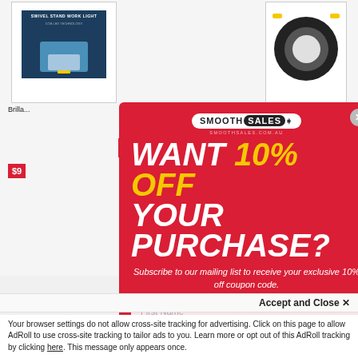[Figure (screenshot): Background e-commerce page showing work light products]
[Figure (infographic): Red modal popup from SmoothSales.com.au offering 10% off with email subscription. Contains logo, headline 'WANT 10% OFF YOUR PURCHASE?', subtext about subscribing, First Name and Email Address input fields, and a Subscribe button.]
WANT 10% OFF YOUR PURCHASE?
Subscribe to our mailing list to receive your exclusive 10% off coupon code.
Accept and Close ✕
Your browser settings do not allow cross-site tracking for advertising. Click on this page to allow AdRoll to use cross-site tracking to tailor ads to you. Learn more or opt out of this AdRoll tracking by clicking here. This message only appears once.